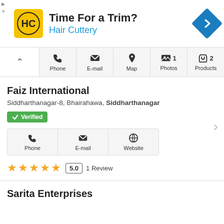[Figure (infographic): Advertisement banner for Hair Cuttery salon with logo and navigation icon. Text reads 'Time For a Trim? Hair Cuttery']
[Figure (infographic): Action bar with collapse button and icons: Phone, E-mail, Map, Photos (1), Products (2)]
Faiz International
Siddharthanagar-8, Bhairahawa, Siddharthanagar
✓ Verified
[Figure (infographic): Contact buttons: Phone, E-mail, Website]
★★★★★ 5.0 1 Review
Sarita Enterprises